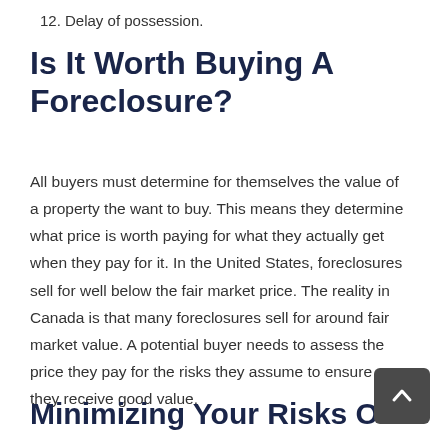12. Delay of possession.
Is It Worth Buying A Foreclosure?
All buyers must determine for themselves the value of a property the want to buy. This means they determine what price is worth paying for what they actually get when they pay for it. In the United States, foreclosures sell for well below the fair market price. The reality in Canada is that many foreclosures sell for around fair market value. A potential buyer needs to assess the price they pay for the risks they assume to ensure they receive good value.
Minimizing Your Risks Of